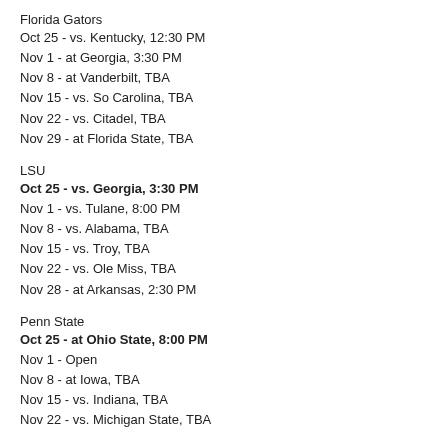Florida Gators
Oct 25 - vs. Kentucky, 12:30 PM
Nov 1 - at Georgia, 3:30 PM
Nov 8 - at Vanderbilt, TBA
Nov 15 - vs. So Carolina, TBA
Nov 22 - vs. Citadel, TBA
Nov 29 - at Florida State, TBA
LSU
Oct 25 - vs. Georgia, 3:30 PM
Nov 1 - vs. Tulane, 8:00 PM
Nov 8 - vs. Alabama, TBA
Nov 15 - vs. Troy, TBA
Nov 22 - vs. Ole Miss, TBA
Nov 28 - at Arkansas, 2:30 PM
Penn State
Oct 25 - at Ohio State, 8:00 PM
Nov 1 - Open
Nov 8 - at Iowa, TBA
Nov 15 - vs. Indiana, TBA
Nov 22 - vs. Michigan State, TBA
Big 12 North Division
Kansas 2 1
Missouri 1 2
Kansas State 1 2
Nebraska 1 2
Colorado 1 2
Iowa State 0 3